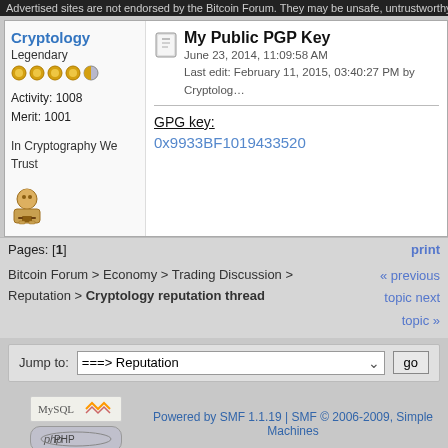Advertised sites are not endorsed by the Bitcoin Forum. They may be unsafe, untrustworthy...
Cryptology
Legendary
Activity: 1008
Merit: 1001
In Cryptography We Trust
My Public PGP Key
June 23, 2014, 11:09:58 AM
Last edit: February 11, 2015, 03:40:27 PM by Cryptology
GPG key:
0x9933BF1019433520
Pages: [1]
print
« previous topic next topic »
Bitcoin Forum > Economy > Trading Discussion > Reputation > Cryptology reputation thread
Jump to: ===> Reputation  go
Powered by SMF 1.1.19 | SMF © 2006-2009, Simple Machines